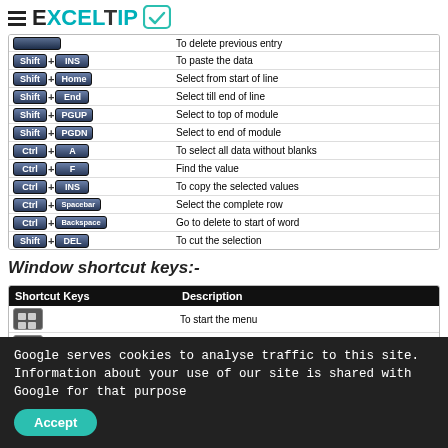EXCELTIP
| Shortcut Keys | Description |
| --- | --- |
| [cut off] | To delete previous entry |
| Shift + INS | To paste the data |
| Shift + Home | Select from start of line |
| Shift + End | Select till end of line |
| Shift + PGUP | Select to top of module |
| Shift + PGDN | Select to end of module |
| Ctrl + A | To select all data without blanks |
| Ctrl + F | Find the value |
| Ctrl + INS | To copy the selected values |
| Ctrl + Spacebar | Select the complete row |
| Ctrl + Backspace | Go to delete to start of word |
| Shift + DEL | To cut the selection |
Window shortcut keys:-
| Shortcut Keys | Description |
| --- | --- |
| [Win] | To start the menu |
| [Win] + R | Run dialog box |
| [Win] + M | Minimize all |
Google serves cookies to analyse traffic to this site. Information about your use of our site is shared with Google for that purpose
Accept